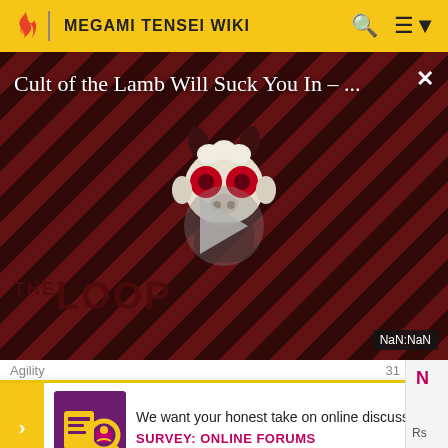MEGAMI TENSEI WIKI
[Figure (screenshot): Video player overlay showing 'Cult of the Lamb Will Suck You In - ...' with a cartoon character, play button, diagonal red/dark stripe background, THE LOOP watermark, and NaN:NaN time display]
|  |  |  |
| --- | --- | --- |
| Agility |  | 31 |
| Luck | 28 |  |
We want your honest take on online discussions
SURVEY: ONLINE FORUMS